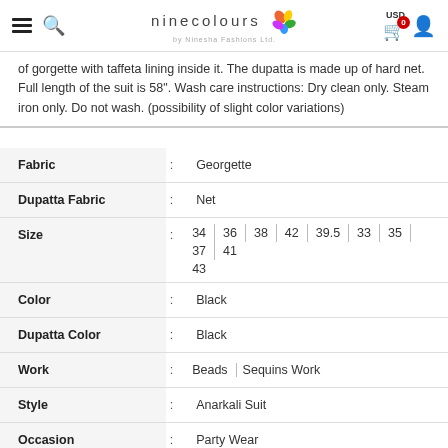ninecolours by Ninesha Fashions Ltd. USD 0
of gorgette with taffeta lining inside it. The dupatta is made up of hard net. Full length of the suit is 58". Wash care instructions: Dry clean only. Steam iron only. Do not wash. (possibility of slight color variations)
| Attribute |  | Value |
| --- | --- | --- |
| Fabric | : | Georgette |
| Dupatta Fabric | : | Net |
| Size | : | 34 36 38 42 39.5 33 35 37 41 43 |
| Color | : | Black |
| Dupatta Color | : | Black |
| Work | : | Beads | Sequins Work |
| Style | : | Anarkali Suit |
| Occasion | : | Party Wear |